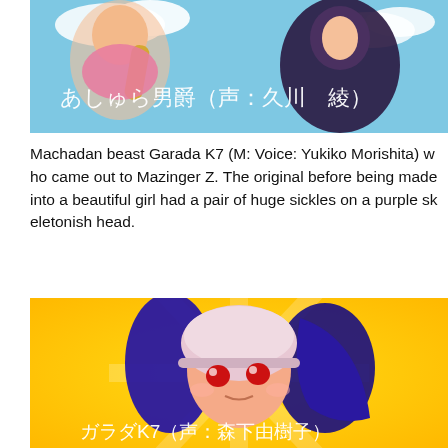[Figure (illustration): Anime screenshot showing a character (Ashura Baron) against a blue sky background. White Japanese text reads: あしゅら男爵（声：久川　綾）]
Machadan beast Garada K7 (M: Voice: Yukiko Morishita) who came out to Mazinger Z. The original before being made into a beautiful girl had a pair of huge sickles on a purple skeletonish head.
[Figure (illustration): Anime illustration of a girl character (Garada K7) with blue hair and a pink/white helmet, against a yellow sunburst background. White Japanese text reads: ガラダK7（声：森下由樹子）]